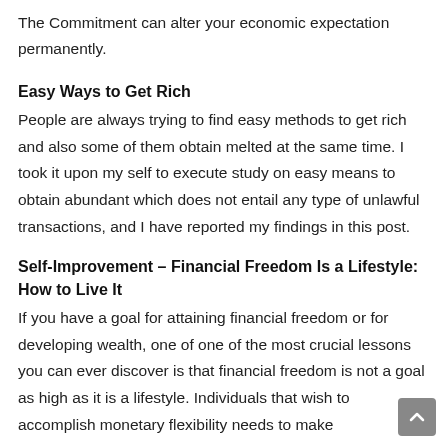The Commitment can alter your economic expectation permanently.
Easy Ways to Get Rich
People are always trying to find easy methods to get rich and also some of them obtain melted at the same time. I took it upon my self to execute study on easy means to obtain abundant which does not entail any type of unlawful transactions, and I have reported my findings in this post.
Self-Improvement – Financial Freedom Is a Lifestyle: How to Live It
If you have a goal for attaining financial freedom or for developing wealth, one of one of the most crucial lessons you can ever discover is that financial freedom is not a goal as high as it is a lifestyle. Individuals that wish to accomplish monetary flexibility needs to make